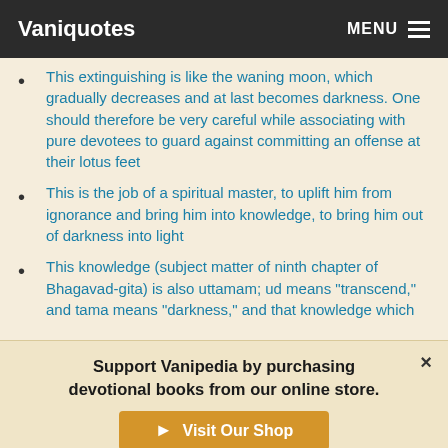Vaniquotes MENU
This extinguishing is like the waning moon, which gradually decreases and at last becomes darkness. One should therefore be very careful while associating with pure devotees to guard against committing an offense at their lotus feet
This is the job of a spiritual master, to uplift him from ignorance and bring him into knowledge, to bring him out of darkness into light
This knowledge (subject matter of ninth chapter of Bhagavad-gita) is also uttamam; ud means "transcend," and tama means "darkness," and that knowledge which
Support Vanipedia by purchasing devotional books from our online store.
Visit Our Shop